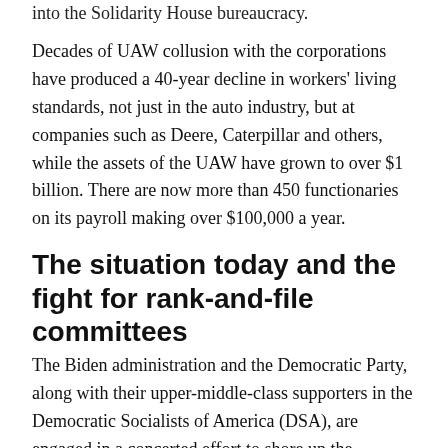into the Solidarity House bureaucracy.
Decades of UAW collusion with the corporations have produced a 40-year decline in workers' living standards, not just in the auto industry, but at companies such as Deere, Caterpillar and others, while the assets of the UAW have grown to over $1 billion. There are now more than 450 functionaries on its payroll making over $100,000 a year.
The situation today and the fight for rank-and-file committees
The Biden administration and the Democratic Party, along with their upper-middle-class supporters in the Democratic Socialists of America (DSA), are engaged in a concerted effort to shore up the flagging credibility of the trade unions.